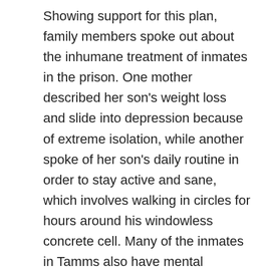Showing support for this plan, family members spoke out about the inhumane treatment of inmates in the prison. One mother described her son's weight loss and slide into depression because of extreme isolation, while another spoke of her son's daily routine in order to stay active and sane, which involves walking in circles for hours around his windowless concrete cell. Many of the inmates in Tamms also have mental illnesses, on which solitary confinement is shown to have particularly damaging effects. Tens of thousands of the 2.3 million people currently incarcerated are forced into long-term solitary confinement within the U.S. prison system.
Patrice Warren, whose brother has been incarcerated in Tamms for over four years, said his...